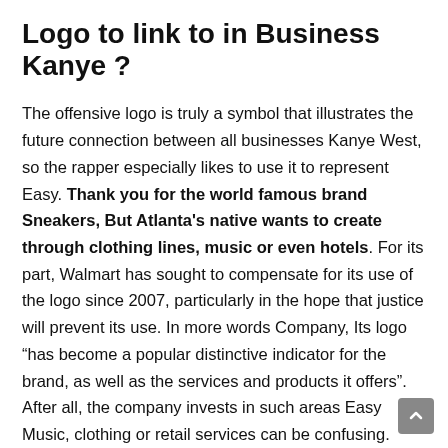Logo to link to in Business Kanye ?
The offensive logo is truly a symbol that illustrates the future connection between all businesses Kanye West, so the rapper especially likes to use it to represent Easy. Thank you for the world famous brand Sneakers, But Atlanta's native wants to create through clothing lines, music or even hotels. For its part, Walmart has sought to compensate for its use of the logo since 2007, particularly in the hope that justice will prevent its use. In more words Company, Its logo “has become a popular distinctive indicator for the brand, as well as the services and products it offers”. After all, the company invests in such areas Easy Music, clothing or retail services can be confusing. Therefore, it is necessary for both parties to manage to resolve this issue before their investments are